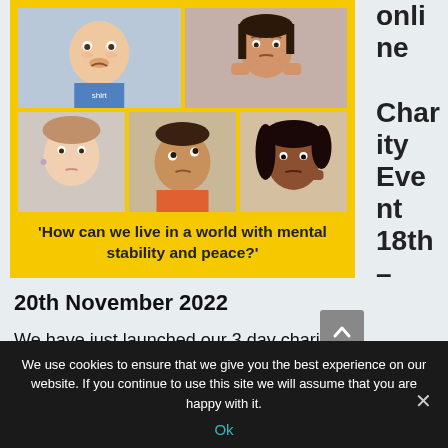[Figure (illustration): Yellow-framed collage of five children's photos with thoughtful/sad expressions, with quote text at bottom: 'How can we live in a world with mental stability and peace?']
online Charity Event 18th –
20th November 2022
We have just launched our 3 day charity
We use cookies to ensure that we give you the best experience on our website. If you continue to use this site we will assume that you are happy with it.
Ok